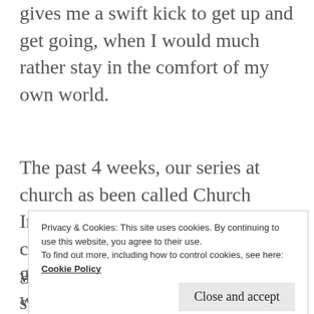gives me a swift kick to get up and get going, when I would much rather stay in the comfort of my own world.
The past 4 weeks, our series at church as been called Church Interrupted.  God is calling the church, you and me, to do His work.  In your office, at your schools, at the deli where you get your meat, everywhere we go, He is calling us to
Privacy & Cookies: This site uses cookies. By continuing to use this website, you agree to their use.
To find out more, including how to control cookies, see here:
Cookie Policy
gift of salvation to live eternally with the Father.